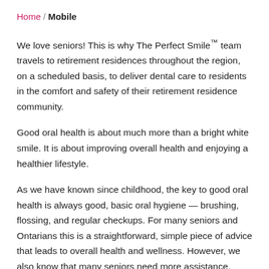Home / Mobile
We love seniors! This is why The Perfect Smile™ team travels to retirement residences throughout the region, on a scheduled basis, to deliver dental care to residents in the comfort and safety of their retirement residence community.
Good oral health is about much more than a bright white smile. It is about improving overall health and enjoying a healthier lifestyle.
As we have known since childhood, the key to good oral health is always good, basic oral hygiene — brushing, flossing, and regular checkups. For many seniors and Ontarians this is a straightforward, simple piece of advice that leads to overall health and wellness. However, we also know that many seniors need more assistance.